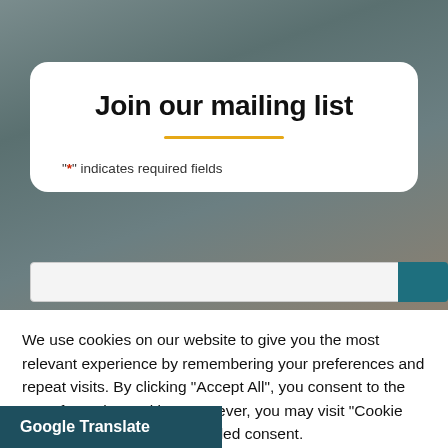Join our mailing list
"*" indicates required fields
We use cookies on our website to give you the most relevant experience by remembering your preferences and repeat visits. By clicking “Accept All”, you consent to the use of ALL the cookies. However, you may visit “Cookie Settings” to provide a controlled consent.
Cookie Settings
Accept All
Google Translate